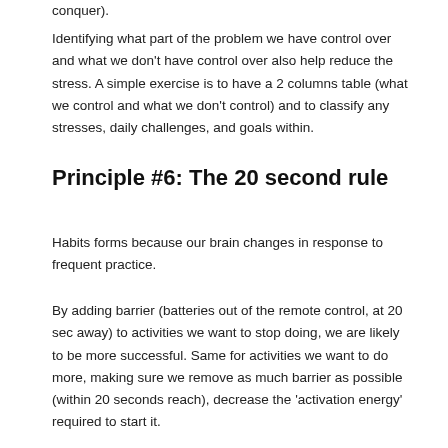conquer).
Identifying what part of the problem we have control over and what we don't have control over also help reduce the stress. A simple exercise is to have a 2 columns table (what we control and what we don't control) and to classify any stresses, daily challenges, and goals within.
Principle #6: The 20 second rule
Habits forms because our brain changes in response to frequent practice.
By adding barrier (batteries out of the remote control, at 20 sec away) to activities we want to stop doing, we are likely to be more successful. Same for activities we want to do more, making sure we remove as much barrier as possible (within 20 seconds reach), decrease the 'activation energy' required to start it.